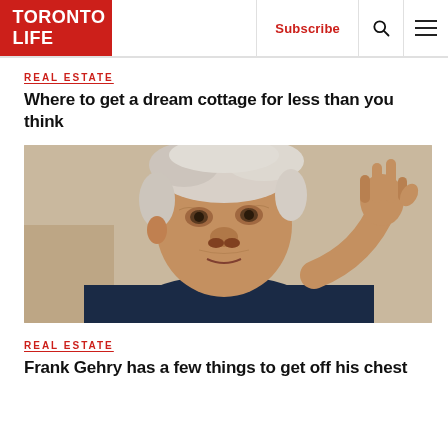TORONTO LIFE | Subscribe | [search] [menu]
REAL ESTATE
Where to get a dream cottage for less than you think
[Figure (photo): Close-up photo of an elderly man with white hair wearing a dark blue shirt, gesturing with his right hand raised, fingers making a point, against a beige wall background.]
REAL ESTATE
Frank Gehry has a few things to get off his chest